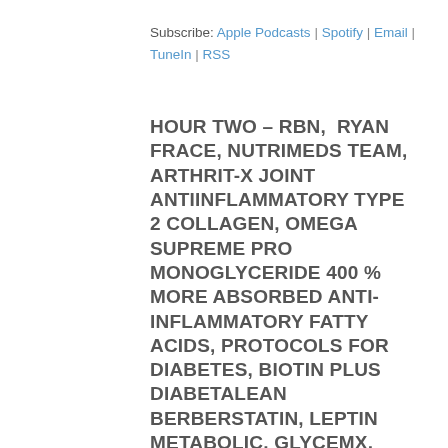Subscribe: Apple Podcasts | Spotify | Email | TuneIn | RSS
HOUR TWO – RBN,  RYAN FRACE, NUTRIMEDS TEAM, ARTHRIT-X JOINT ANTIINFLAMMATORY TYPE 2 COLLAGEN, OMEGA SUPREME PRO MONOGLYCERIDE 400 % MORE ABSORBED ANTI-INFLAMMATORY FATTY ACIDS, PROTOCOLS FOR DIABETES, BIOTIN PLUS DIABETALEAN BERBERSTATIN, LEPTIN METABOLIC, GLYCEMX, WHITE TO BROWN FAT LIPOFLUSH, WHITE TO BROWN FAT FORSKOLIN CELL